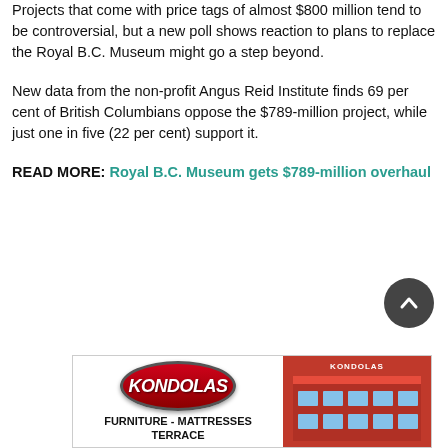Projects that come with price tags of almost $800 million tend to be controversial, but a new poll shows reaction to plans to replace the Royal B.C. Museum might go a step beyond.
New data from the non-profit Angus Reid Institute finds 69 per cent of British Columbians oppose the $789-million project, while just one in five (22 per cent) support it.
READ MORE: Royal B.C. Museum gets $789-million overhaul
[Figure (other): Kondolas Furniture - Mattresses Terrace advertisement banner with red oval logo and building image]